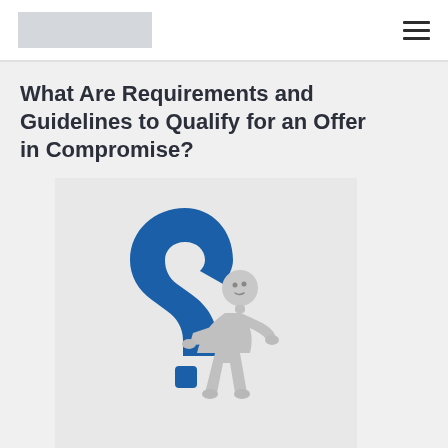[Logo placeholder] [Hamburger menu]
What Are Requirements and Guidelines to Qualify for an Offer in Compromise?
[Figure (illustration): 3D illustration of a gray humanoid figure leaning on a large blue question mark, in a thinking/pondering pose against a light gray background.]